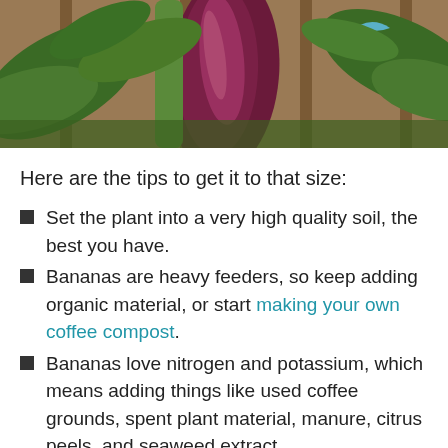[Figure (photo): Close-up photo of a banana plant with large dark reddish-purple flower/bract and green leaves, with wooden fence in background]
Here are the tips to get it to that size:
Set the plant into a very high quality soil, the best you have.
Bananas are heavy feeders, so keep adding organic material, or start making your own coffee compost.
Bananas love nitrogen and potassium, which means adding things like used coffee grounds, spent plant material, manure, citrus peels, and seaweed extract.
An environment that maintains an even, preferably warmish temperature.
A steady supply of water.